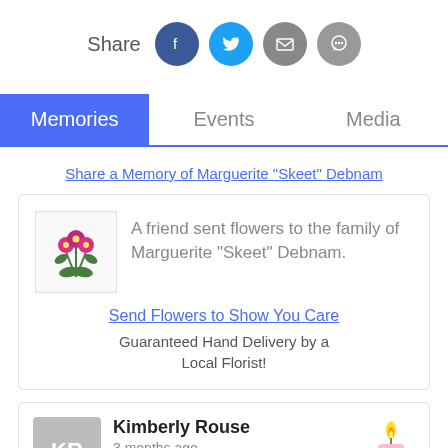Share
Memories | Events | Media
Share a Memory of Marguerite "Skeet" Debnam
A friend sent flowers to the family of Marguerite "Skeet" Debnam.
Send Flowers to Show You Care
Guaranteed Hand Delivery by a Local Florist!
Kimberly Rouse
3 months ago